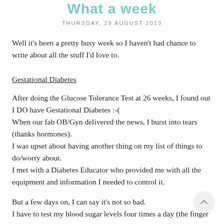What a week
THURSDAY, 29 AUGUST 2013
Well it's been a pretty busy week so I haven't had chance to write about all the stuff I'd love to.
Gestational Diabetes
After doing the Glucose Tolerance Test at 26 weeks, I found out I DO have Gestational Diabetes :-(
When our fab OB/Gyn delivered the news, I burst into tears (thanks hormones).
I was upset about having another thing on my list of things to do/worry about.
I met with a Diabetes Educator who provided me with all the equipment and information I needed to control it.
But a few days on, I can say it's not so bad.
I have to test my blood sugar levels four times a day (the finger